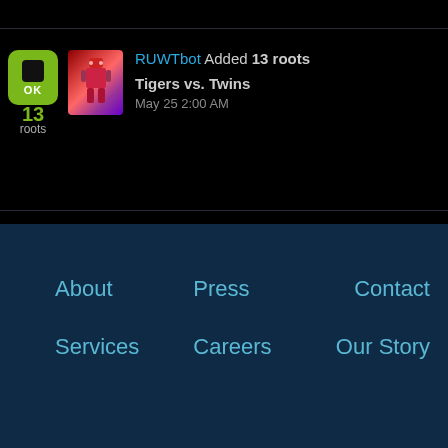RUWTbot Added 13 roots
Tigers vs. Twins
May 25 2:00 AM
About
Press
Contact
Services
Careers
Our Story